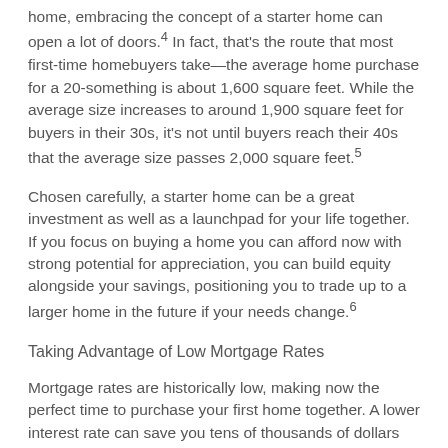home, embracing the concept of a starter home can open a lot of doors.4 In fact, that's the route that most first-time homebuyers take—the average home purchase for a 20-something is about 1,600 square feet. While the average size increases to around 1,900 square feet for buyers in their 30s, it's not until buyers reach their 40s that the average size passes 2,000 square feet.5
Chosen carefully, a starter home can be a great investment as well as a launchpad for your life together. If you focus on buying a home you can afford now with strong potential for appreciation, you can build equity alongside your savings, positioning you to trade up to a larger home in the future if your needs change.6
Taking Advantage of Low Mortgage Rates
Mortgage rates are historically low, making now the perfect time to purchase your first home together. A lower interest rate can save you tens of thousands of dollars over the life of your loan, which can significantly increase the quality of home you can get for your money.
But what if both halves of a couple don't have good